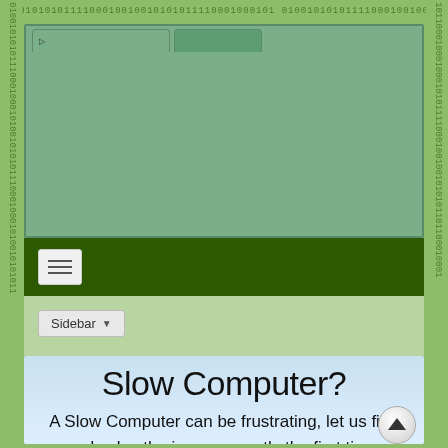[Figure (screenshot): Screenshot of a web browser showing a website with a green binary code border, a browser window with tabs, a dark green navigation bar with hamburger menu, a sidebar dropdown button, and a light blue content area with 'Slow Computer?' heading and descriptive text below.]
Slow Computer?
A Slow Computer can be frustrating, let us find and solve the issue correctly the first time.